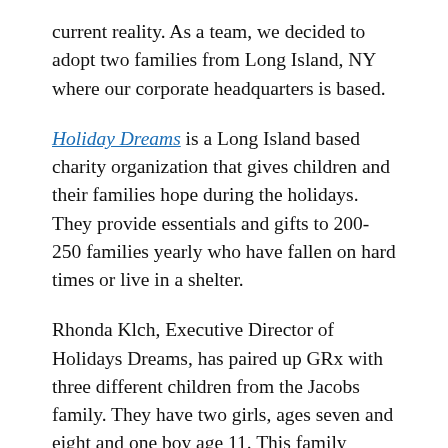current reality. As a team, we decided to adopt two families from Long Island, NY where our corporate headquarters is based.
Holiday Dreams is a Long Island based charity organization that gives children and their families hope during the holidays. They provide essentials and gifts to 200-250 families yearly who have fallen on hard times or live in a shelter.
Rhonda Klch, Executive Director of Holidays Dreams, has paired up GRx with three different children from the Jacobs family. They have two girls, ages seven and eight and one boy age 11. This family reached out to Holiday Dreams for help because the father lost his job due to COVID-19 like many other families this year. With our donation, Holiday Dreams was able to get new clothes, shoes, toys, and food gift cards for the family...